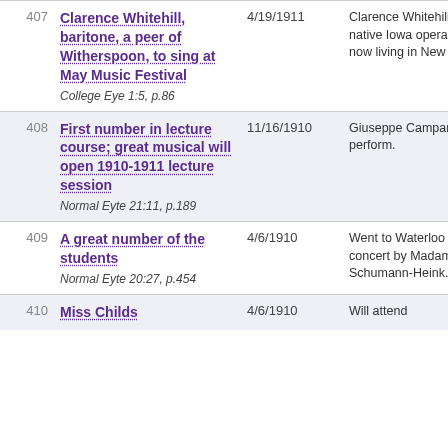| # | Title | Date | Description |
| --- | --- | --- | --- |
| 407 | Clarence Whitehill, baritone, a peer of Witherspoon, to sing at May Music Festival
College Eye 1:5, p.86 | 4/19/1911 | Clarence Whitehill is a native Iowa opera singer now living in New York. |
| 408 | First number in lecture course; great musical will open 1910-1911 lecture session
Normal Eyte 21:11, p.189 | 11/16/1910 | Giuseppe Campanari will perform. |
| 409 | A great number of the students
Normal Eyte 20:27, p.454 | 4/6/1910 | Went to Waterloo for the concert by Madame Schumann-Heink. |
| 410 | Miss Childs | 4/6/1910 | Will attend |